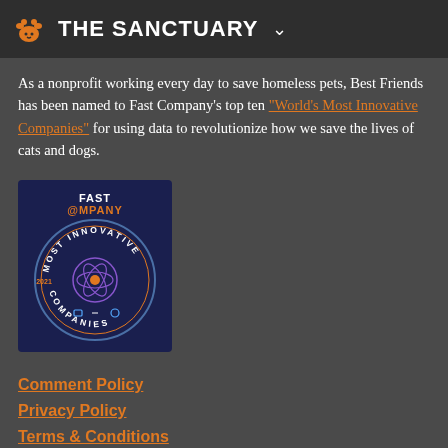THE SANCTUARY
As a nonprofit working every day to save homeless pets, Best Friends has been named to Fast Company's top ten "World's Most Innovative Companies" for using data to revolutionize how we save the lives of cats and dogs.
[Figure (logo): Fast Company 2021 Most Innovative Companies circular badge on dark navy background]
Comment Policy
Privacy Policy
Terms & Conditions
© 2022 Best Friends Animal Society. All Rights Reserved.